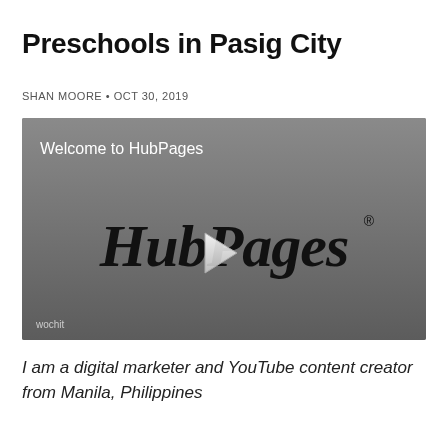Preschools in Pasig City
SHAN MOORE • OCT 30, 2019
[Figure (screenshot): Video thumbnail showing HubPages logo with play button overlay on a grey background, with 'Welcome to HubPages' text in upper left and 'wochit' watermark in lower left.]
I am a digital marketer and YouTube content creator from Manila, Philippines